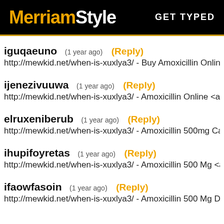MerriamStyle  GET TYPED
iguqaeuno (1 year ago) (Reply)
http://mewkid.net/when-is-xuxlya3/ - Buy Amoxicillin Online <a h
ijenezivuuwa (1 year ago) (Reply)
http://mewkid.net/when-is-xuxlya3/ - Amoxicillin Online <a href=
elruxeniberub (1 year ago) (Reply)
http://mewkid.net/when-is-xuxlya3/ - Amoxicillin 500mg Capsule
ihupifoyretas (1 year ago) (Reply)
http://mewkid.net/when-is-xuxlya3/ - Amoxicillin 500 Mg <a href
ifaowfasoin (1 year ago) (Reply)
http://mewkid.net/when-is-xuxlya3/ - Amoxicillin 500 Mg Dosage